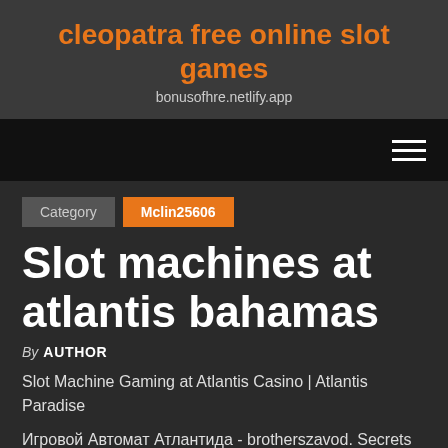cleopatra free online slot games
bonusofhre.netlify.app
Category  Mclin25606
Slot machines at atlantis bahamas
By AUTHOR
Slot Machine Gaming at Atlantis Casino | Atlantis Paradise
Игровой Автомат Атлантида - brotherszavod. Secrets Of Atlanic – играть на деньги Вулкан 24 казино